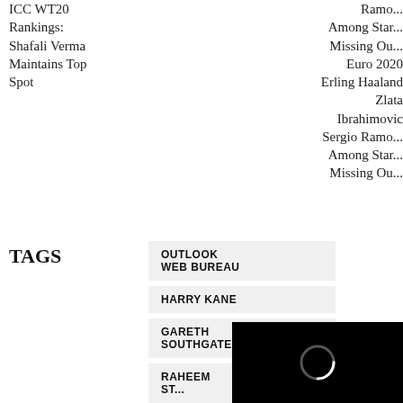ICC WT20 Rankings: Shafali Verma Maintains Top Spot
Ramo... Among Star... Missing Ou... Euro 2020 Erling Haaland Zlata Ibrahimovic Sergio Ramo... Among Star... Missing Ou...
TAGS
OUTLOOK WEB BUREAU
HARRY KANE
GARETH SOUTHGATE
RAHEEM ST...
FO...